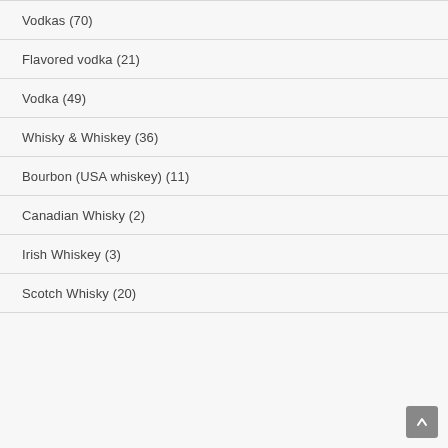Vodkas (70)
Flavored vodka (21)
Vodka (49)
Whisky & Whiskey (36)
Bourbon (USA whiskey) (11)
Canadian Whisky (2)
Irish Whiskey (3)
Scotch Whisky (20)